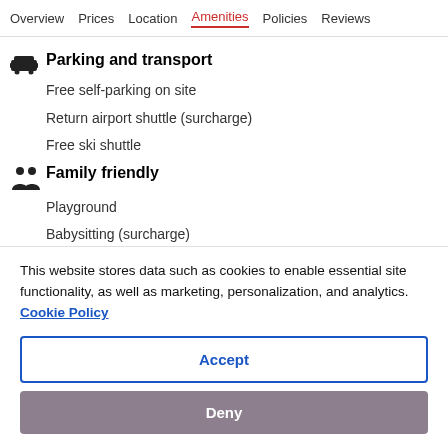Overview  Prices  Location  Amenities  Policies  Reviews
Parking and transport
Free self-parking on site
Return airport shuttle (surcharge)
Free ski shuttle
Family friendly
Playground
Babysitting (surcharge)
Kitchenette
This website stores data such as cookies to enable essential site functionality, as well as marketing, personalization, and analytics. Cookie Policy
Accept
Deny